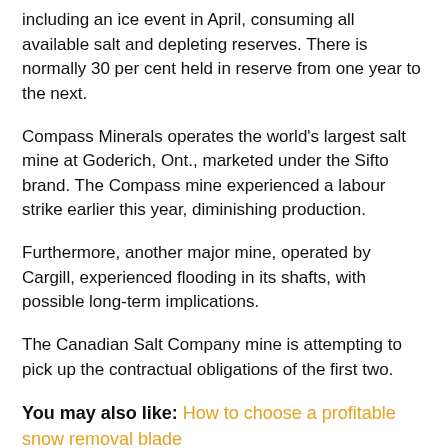including an ice event in April, consuming all available salt and depleting reserves. There is normally 30 per cent held in reserve from one year to the next.
Compass Minerals operates the world's largest salt mine at Goderich, Ont., marketed under the Sifto brand. The Compass mine experienced a labour strike earlier this year, diminishing production.
Furthermore, another major mine, operated by Cargill, experienced flooding in its shafts, with possible long-term implications.
The Canadian Salt Company mine is attempting to pick up the contractual obligations of the first two.
You may also like: How to choose a profitable snow removal blade